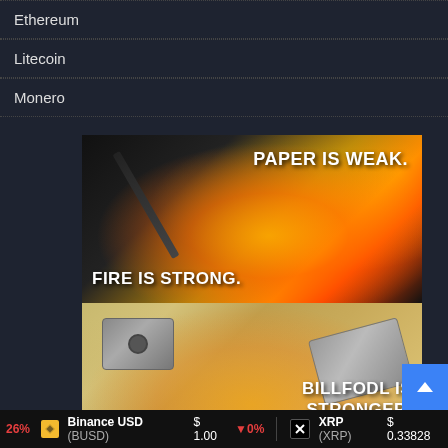Ethereum
Litecoin
Monero
[Figure (photo): Crypto meme image. Top half: a pen/pencil burning paper with fire, text overlay 'PAPER IS WEAK.' at top right and 'FIRE IS STRONG.' at bottom left. Bottom half: metal hardware wallet (Billfodl) pieces, text overlay 'BILLFODL IS STRONGER.']
26% | Binance USD (BUSD) $1.00 ▼0% | XRP (XRP) $0.33828